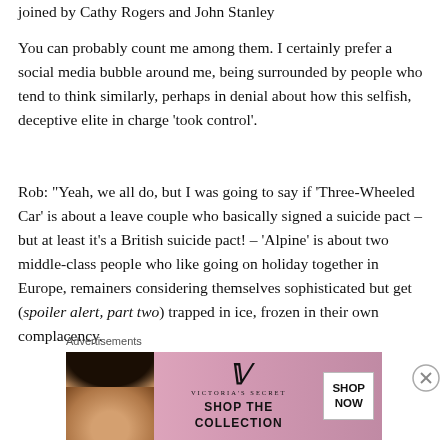joined by Cathy Rogers and John Stanley
You can probably count me among them. I certainly prefer a social media bubble around me, being surrounded by people who tend to think similarly, perhaps in denial about how this selfish, deceptive elite in charge ‘took control’.
Rob: “Yeah, we all do, but I was going to say if ‘Three-Wheeled Car’ is about a leave couple who basically signed a suicide pact – but at least it’s a British suicide pact! – ‘Alpine’ is about two middle-class people who like going on holiday together in Europe, remainers considering themselves sophisticated but get (spoiler alert, part two) trapped in ice, frozen in their own complacency.
Advertisements
[Figure (photo): Victoria's Secret advertisement banner showing a model with curly hair on the left, VS logo and 'SHOP THE COLLECTION' text in center, and 'SHOP NOW' button on the right, on a pink background.]